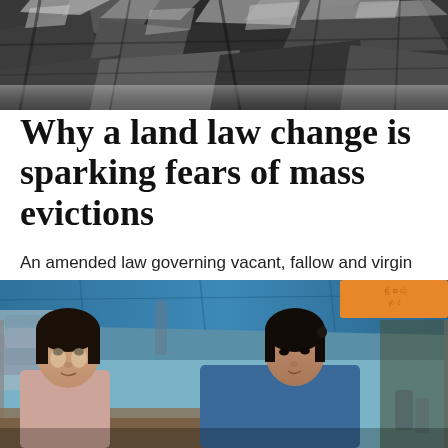[Figure (photo): Aerial or close-up view of rocky, charred, or burnt terrain — dark volcanic or scorched rock surface]
Why a land law change is sparking fears of mass evictions
An amended law governing vacant, fallow and virgin land threatens to turn millions of smallholder farmers into criminal trespassers.
[Figure (photo): Two women sitting under a blue tarp canopy at what appears to be an outdoor market stall. The woman on the left has lighter skin with traditional face paint, wearing a pink blouse. The woman on the right has dark hair pulled back, wearing a blue top. Market stalls and signage visible in the background.]